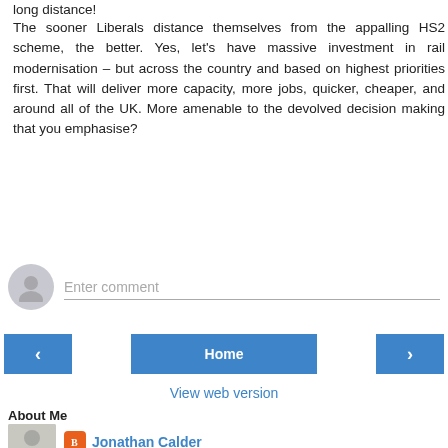long distance!
The sooner Liberals distance themselves from the appalling HS2 scheme, the better. Yes, let's have massive investment in rail modernisation – but across the country and based on highest priorities first. That will deliver more capacity, more jobs, quicker, cheaper, and around all of the UK. More amenable to the devolved decision making that you emphasise?
Reply
Enter comment
Home
View web version
About Me
Jonathan Calder